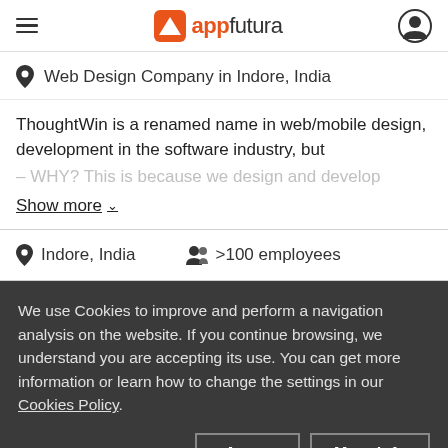appfutura
Web Design Company in Indore, India
ThoughtWin is a renamed name in web/mobile design, development in the software industry, but – WHY? This is because we design and develop
Show more
Indore, India   >100 employees
We use Cookies to improve and perform a navigation analysis on the website. If you continue browsing, we understand you are accepting its use. You can get more information or learn how to change the settings in our Cookies Policy.
Agree
More info